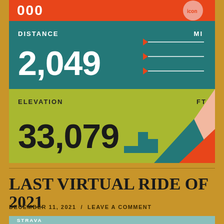[Figure (infographic): Orange bar at top with bold numeric text and circular icon]
[Figure (infographic): Teal distance block showing 2,049 MI with arrow decorations]
[Figure (infographic): Olive/green elevation block showing 33,079 FT with mountain silhouette graphic]
LAST VIRTUAL RIDE OF 2021
DECEMBER 11, 2021 / LEAVE A COMMENT
[Figure (screenshot): Strava logo bar at bottom in teal/green]